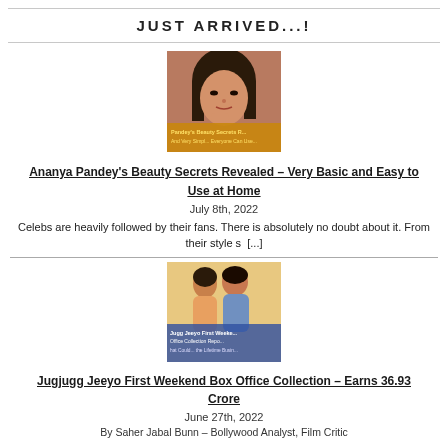JUST ARRIVED...!
[Figure (photo): Portrait photo of Ananya Pandey with overlay text: Pandey's Beauty Secrets R... and Very Simpl... Everyone Can Use...]
Ananya Pandey's Beauty Secrets Revealed – Very Basic and Easy to Use at Home
July 8th, 2022
Celebs are heavily followed by their fans. There is absolutely no doubt about it. From their style s [...]
[Figure (photo): Photo of couple with overlay text: Jugg Jeeyo First Weeke... Office Collection Repo... hat Could... the Lifetime Busin...]
Jugjugg Jeeyo First Weekend Box Office Collection – Earns 36.93 Crore
June 27th, 2022
By Saher Jabal Bunn – Bollywood Analyst, Film Critic